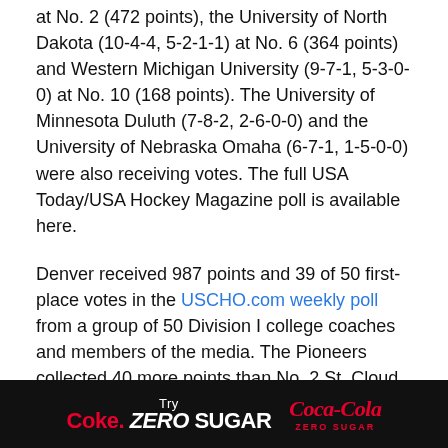at No. 2 (472 points), the University of North Dakota (10-4-4, 5-2-1-1) at No. 6 (364 points) and Western Michigan University (9-7-1, 5-3-0-0) at No. 10 (168 points). The University of Minnesota Duluth (7-8-2, 2-6-0-0) and the University of Nebraska Omaha (6-7-1, 1-5-0-0) were also receiving votes. The full USA Today/USA Hockey Magazine poll is available here.
Denver received 987 points and 39 of 50 first-place votes in the USCHO.com weekly poll from a group of 50 Division I college coaches and members of the media. The Pioneers collected 40 more points than No. 2 St. Cloud State University and 108 more points than No. 3 Clarkson University. This marks the tenth of 11 weeks the Pioneers have taken the top spot in the USCHO.com poll.
Five (5) NCHC schools including Denver were ranked in the USCHO.com poll with St. Cloud State University at No. 2 (947
[Figure (other): Coca-Cola advertisement banner: 'Try Coke. ZERO SUGAR' with Coca-Cola Zero Sugar logo on black background]